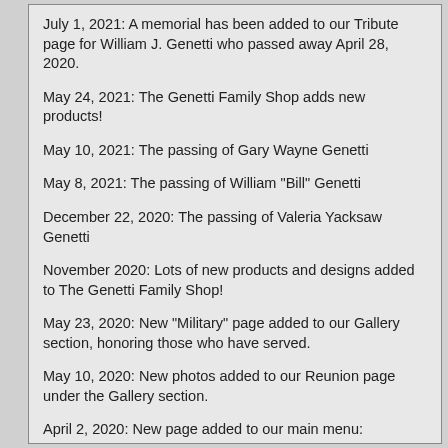July 1, 2021: A memorial has been added to our Tribute page for William J. Genetti who passed away April 28, 2020.
May 24, 2021: The Genetti Family Shop adds new products!
May 10, 2021: The passing of Gary Wayne Genetti
May 8, 2021: The passing of William "Bill" Genetti
December 22, 2020: The passing of Valeria Yacksaw Genetti
November 2020: Lots of new products and designs added to The Genetti Family Shop!
May 23, 2020: New "Military" page added to our Gallery section, honoring those who have served.
May 10, 2020: New photos added to our Reunion page under the Gallery section.
April 2, 2020: New page added to our main menu: